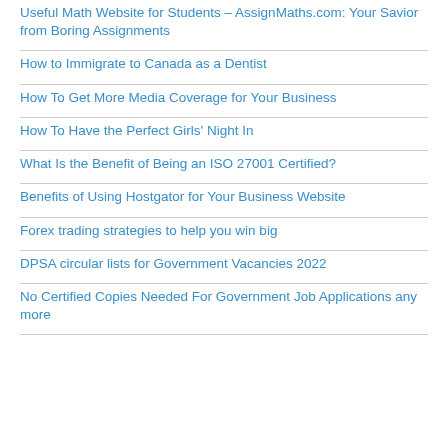Useful Math Website for Students – AssignMaths.com: Your Savior from Boring Assignments
How to Immigrate to Canada as a Dentist
How To Get More Media Coverage for Your Business
How To Have the Perfect Girls' Night In
What Is the Benefit of Being an ISO 27001 Certified?
Benefits of Using Hostgator for Your Business Website
Forex trading strategies to help you win big
DPSA circular lists for Government Vacancies 2022
No Certified Copies Needed For Government Job Applications any more